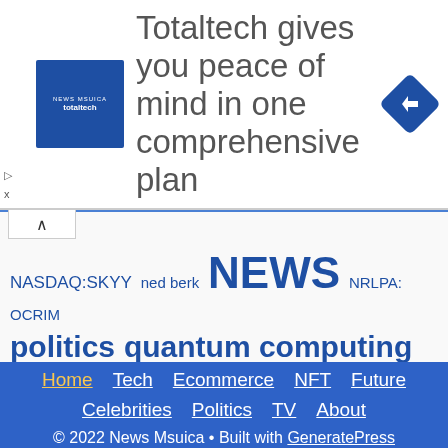[Figure (other): Advertisement banner for Totaltech with blue square logo on left, text 'Totaltech gives you peace of mind in one comprehensive plan' in center, and blue diamond directional icon on right]
NASDAQ:SKYY  ned berk  NEWS  NRLPA: OCRIM  politics  quantum computing  Rigetti Computing  robert lapidus  silverstein properties  steve coutts  stock market today  Technology  tess jones  USAMA  WOM  Worcester
Home  Tech  Ecommerce  NFT  Future  Celebrities  Politics  TV  About  © 2022 News Msuica • Built with GeneratePress